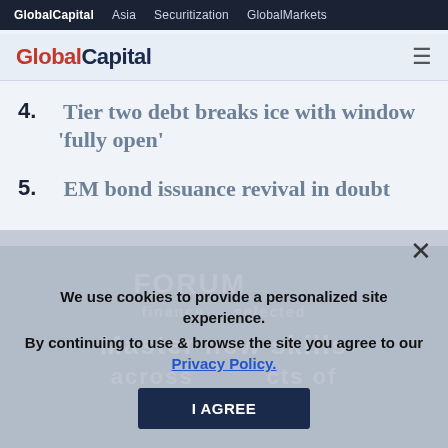GlobalCapital  Asia  Securitization  GlobalMarkets
GlobalCapital
4.  Tier two debt breaks ice with window 'fully open'
5.  EM bond issuance revival in doubt
We use cookies to provide a personalized site experience.
By continuing to use & browse the site you agree to our Privacy Policy.
I AGREE